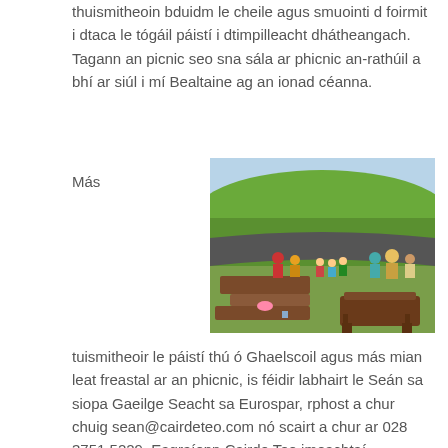thuismitheoin bduidm le cheile agus smuointi d foirmit i dtaca le tógáil páistí i dtimpilleacht dhátheangach. Tagann an picnic seo sna sála ar phicnic an-rathúil a bhí ar siúl i mí Bealtaine ag an ionad céanna.
Más
[Figure (photo): Outdoor event at a grass-roofed circular building. Children and costumed characters on a wooden deck area. Wooden benches in the foreground on green grass.]
tuismitheoir le páistí thú ó Ghaelscoil agus más mian leat freastal ar an phicnic, is féidir labhairt le Seán sa siopa Gaeilge Seacht sa Eurospar, rphost a chur chuig sean@cairdeteo.com nó scairt a chur ar 028 3751 5229. Eagraíonn Cairde Teo imeachtaí teaghlaigh i rith na bliana le tacú le páistí atá ag freastal ar Ghaelscoileanna